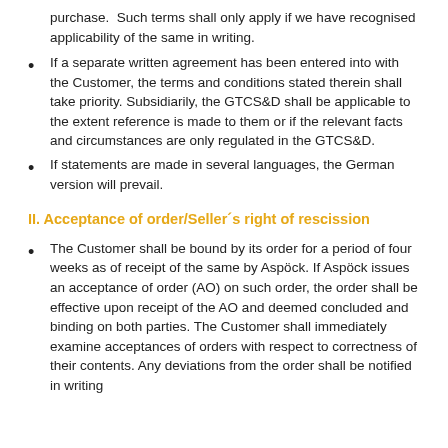purchase. Such terms shall only apply if we have recognised applicability of the same in writing.
If a separate written agreement has been entered into with the Customer, the terms and conditions stated therein shall take priority. Subsidiarily, the GTCS&D shall be applicable to the extent reference is made to them or if the relevant facts and circumstances are only regulated in the GTCS&D.
If statements are made in several languages, the German version will prevail.
II. Acceptance of order/Seller´s right of rescission
The Customer shall be bound by its order for a period of four weeks as of receipt of the same by Aspöck. If Aspöck issues an acceptance of order (AO) on such order, the order shall be effective upon receipt of the AO and deemed concluded and binding on both parties. The Customer shall immediately examine acceptances of orders with respect to correctness of their contents. Any deviations from the order shall be notified in writing